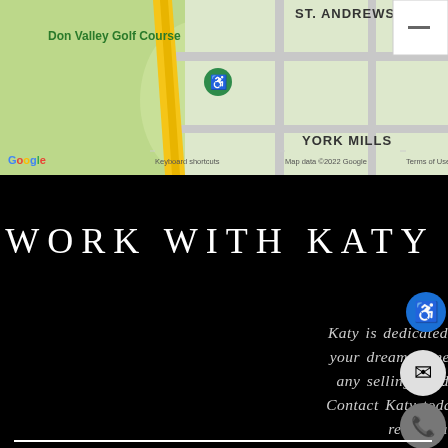[Figure (screenshot): Google Maps screenshot showing Don Valley Golf Course, York Mills area in Toronto. Shows green park area, yellow road, map pin, and map attribution footer with 'Google', 'Keyboard shortcuts', 'Map data ©2022 Google', 'Terms of Use'.]
WORK WITH KATY
Katy is dedicated to helping you find your dream home and assisting with any selling needs you may have. Contact Katy today to discuss all your real estate needs!